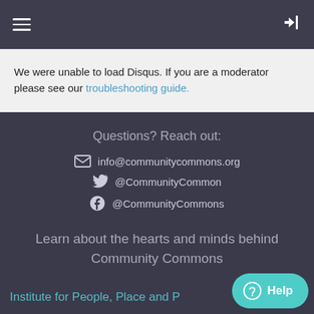Navigation bar with hamburger menu and login icon
We were unable to load Disqus. If you are a moderator please see our troubleshooting guide.
Questions? Reach out:
info@communitycommons.org
@CommunityCommon
@CommunityCommons
Learn about the hearts and minds behind Community Commons
Institute for People, Place and P...
Help